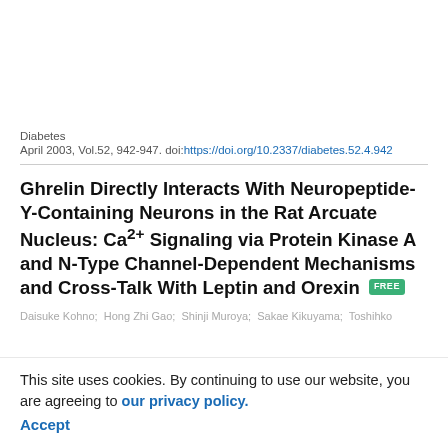Diabetes
April 2003, Vol.52, 942-947. doi:https://doi.org/10.2337/diabetes.52.4.942
Ghrelin Directly Interacts With Neuropeptide-Y-Containing Neurons in the Rat Arcuate Nucleus: Ca2+ Signaling via Protein Kinase A and N-Type Channel-Dependent Mechanisms and Cross-Talk With Leptin and Orexin [FREE]
Daisuke Kohno; Hong Zhi Gao; Shinji Muroya; Sakae Kikuyama; Toshihiko ...
This site uses cookies. By continuing to use our website, you are agreeing to our privacy policy. Accept